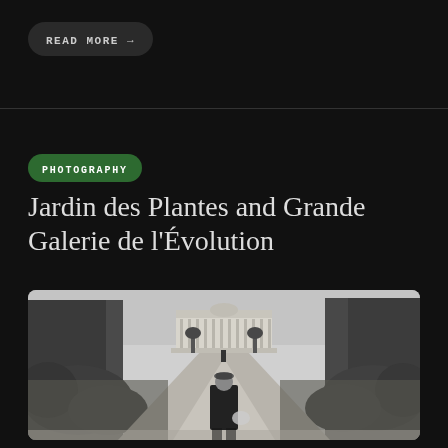READ MORE →
Jardin des Plantes and Grande Galerie de l'Évolution
[Figure (photo): Black and white photograph of a man walking away down a wide garden path toward a grand classical building, flanked by tall trees and bushes — Jardin des Plantes, Paris]